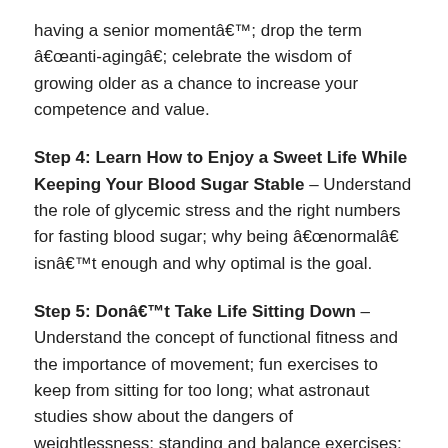having a senior moment’; drop the term “anti-aging”; celebrate the wisdom of growing older as a chance to increase your competence and value.
Step 4: Learn How to Enjoy a Sweet Life While Keeping Your Blood Sugar Stable – Understand the role of glycemic stress and the right numbers for fasting blood sugar; why being “normal” isn’t enough and why optimal is the goal.
Step 5: Don’t Take Life Sitting Down – Understand the concept of functional fitness and the importance of movement; fun exercises to keep from sitting for too long; what astronaut studies show about the dangers of weightlessness; standing and balance exercises; understanding fascia, and a high-intensity interval training workout demonstration.